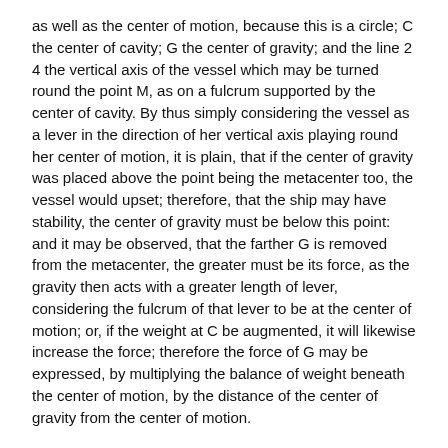as well as the center of motion, because this is a circle; C the center of cavity; G the center of gravity; and the line 2 4 the vertical axis of the vessel which may be turned round the point M, as on a fulcrum supported by the center of cavity. By thus simply considering the vessel as a lever in the direction of her vertical axis playing round her center of motion, it is plain, that if the center of gravity was placed above the point being the metacenter too, the vessel would upset; therefore, that the ship may have stability, the center of gravity must be below this point: and it may be observed, that the farther G is removed from the metacenter, the greater must be its force, as the gravity then acts with a greater length of lever, considering the fulcrum of that lever to be at the center of motion; or, if the weight at C be augmented, it will likewise increase the force; therefore the force of G may be expressed, by multiplying the balance of weight beneath the center of motion, by the distance of the center of gravity from the center of motion.
The centers of cavity and motion (in circular bodies) will ever be in a line perpendicular to the horizon, but the center of gravity may be either on one side or the other of this line. When such a body is at rest, the center of gravity will be in this line; but if in motion it will be diverted from it. Thus the points M and C, will always be perpendicular to W L, but the point G, by the body's rolling, may be on either side of that perpendicular. While G is perpendicular to the